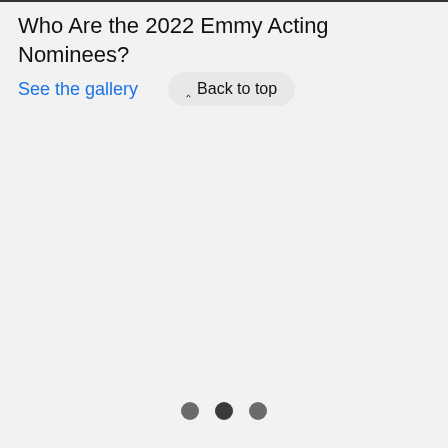Who Are the 2022 Emmy Acting Nominees?
See the gallery
^ Back to top